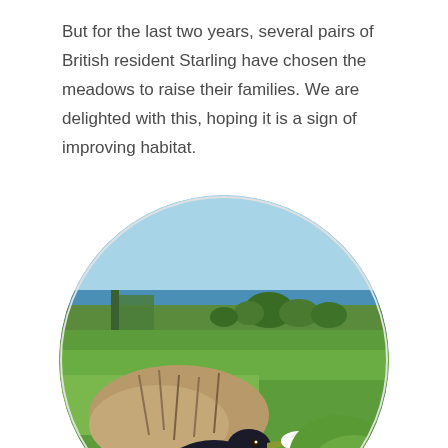But for the last two years, several pairs of British resident Starling have chosen the meadows to raise their families. We are delighted with this, hoping it is a sign of improving habitat.
[Figure (photo): A circular cropped photograph of a Starling bird in a meadow, carrying a white feather in its beak. The bird is close to the camera showing its iridescent speckled plumage. Behind it is green grass, shrubs, and in the distance the blue sea under a blue sky with some trees and a fence visible.]